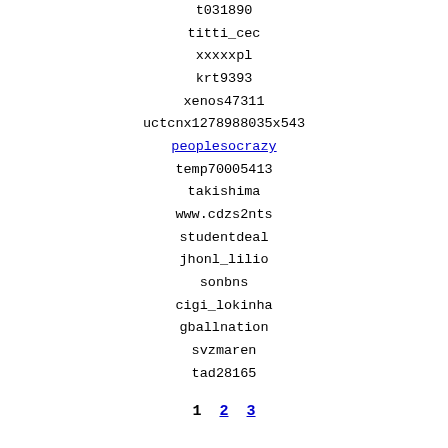t031890
titti_cec
xxxxxpl
krt9393
xenos47311
uctcnx1278988035x543
peoplesocrazy
temp70005413
takishima
www.cdzs2nts
studentdeal
jhonl_lilio
sonbns
cigi_lokinha
gballnation
svzmaren
tad28165
1 2 3